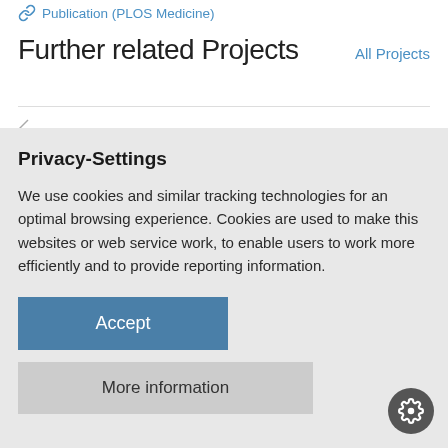Publication (PLOS Medicine)
Further related Projects
All Projects
Privacy-Settings
We use cookies and similar tracking technologies for an optimal browsing experience. Cookies are used to make this websites or web service work, to enable users to work more efficiently and to provide reporting information.
Accept
More information